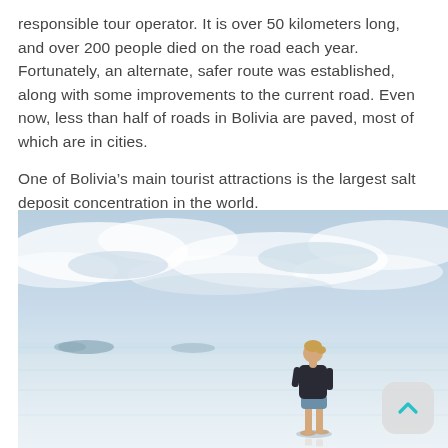responsible tour operator. It is over 50 kilometers long, and over 200 people died on the road each year. Fortunately, an alternate, safer route was established, along with some improvements to the current road. Even now, less than half of roads in Bolivia are paved, most of which are in cities.
One of Bolivia’s main tourist attractions is the largest salt deposit concentration in the world.
[Figure (photo): A person standing alone on the Bolivian salt flats (Salar de Uyuni), a vast white reflective surface under a light blue sky with clouds. Small dark islands or hills are visible on the horizon to the left. The person is wearing a dark top and shorts.]